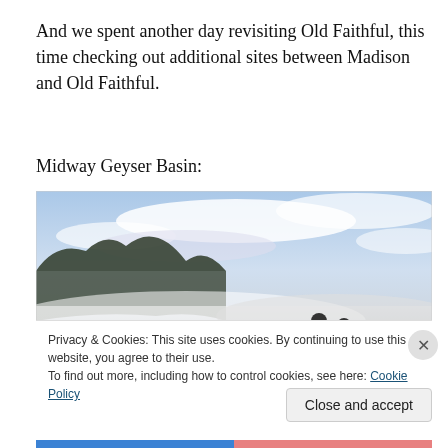And we spent another day revisiting Old Faithful, this time checking out additional sites between Madison and Old Faithful.
Midway Geyser Basin:
[Figure (photo): Two people standing on a boardwalk overlooking a vast misty landscape with steam, mountains with trees in the background, and cloudy sky — Midway Geyser Basin at Yellowstone.]
Privacy & Cookies: This site uses cookies. By continuing to use this website, you agree to their use.
To find out more, including how to control cookies, see here: Cookie Policy